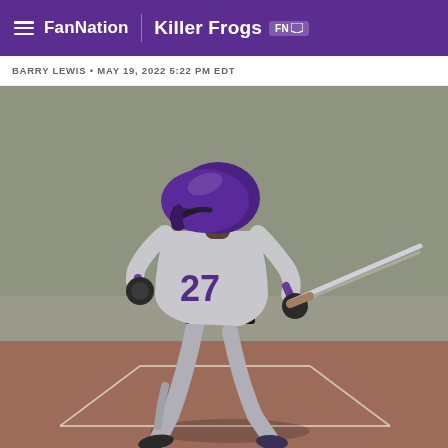FanNation  Killer Frogs FN
BARRY LEWIS • MAY 19, 2022 5:22 PM EDT
[Figure (photo): A TCU baseball player wearing jersey number 27 in a gray uniform with purple accents, swinging a bat at home plate. The player is photographed from behind mid-swing with the bat extended. The background shows a green grass outfield and red-clay infield dirt. The image is slightly desaturated except for the purple uniform details.]